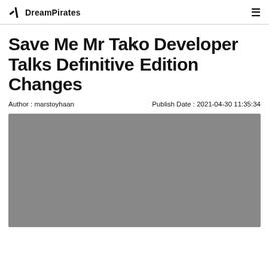DreamPirates
Save Me Mr Tako Developer Talks Definitive Edition Changes
Author : marstoyhaan    Publish Date : 2021-04-30 11:35:34
[Figure (photo): Gray placeholder image for the article]